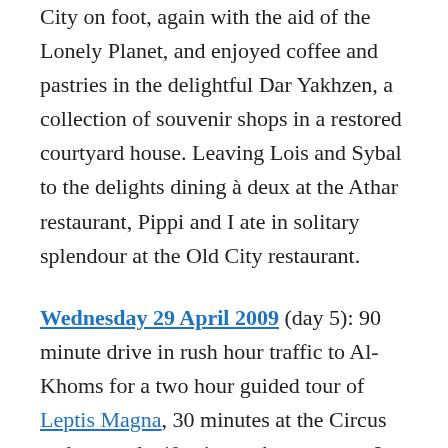City on foot, again with the aid of the Lonely Planet, and enjoyed coffee and pastries in the delightful Dar Yakhzen, a collection of souvenir shops in a restored courtyard house. Leaving Lois and Sybal to the delights dining à deux at the Athar restaurant, Pippi and I ate in solitary splendour at the Old City restaurant.
Wednesday 29 April 2009 (day 5): 90 minute drive in rush hour traffic to Al-Khoms for a two hour guided tour of Leptis Magna, 30 minutes at the Circus and a speedy 40 mins at the museum. It really is as stunning as They Say. Back in Tripoli we had another late afternoon/evening at leisure. After strolling down Sharia Omar al Mukhtar to Green Square and watching families enjoying the sun in the Corniche gardens, Pippi and I returned to our hotel area to dine cheaply/locally, at the Sultan restaurant on the Sharia Omar al Mukhtar.